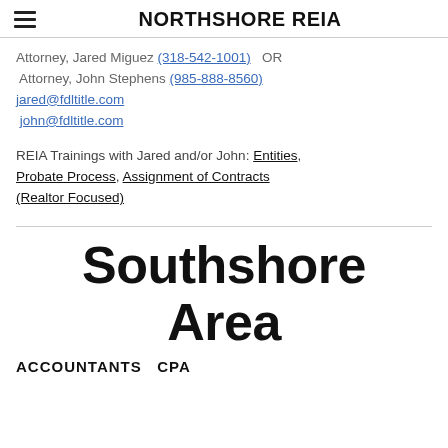NORTHSHORE REIA
Attorney, Jared Miguez (318-542-1001)  OR
 Attorney, John Stephens (985-888-8560)
jared@fdltitle.com
 john@fdltitle.com
REIA Trainings with Jared and/or John: Entities, Probate Process, Assignment of Contracts (Realtor Focused)
Southshore Area
ACCOUNTANTS  CPA